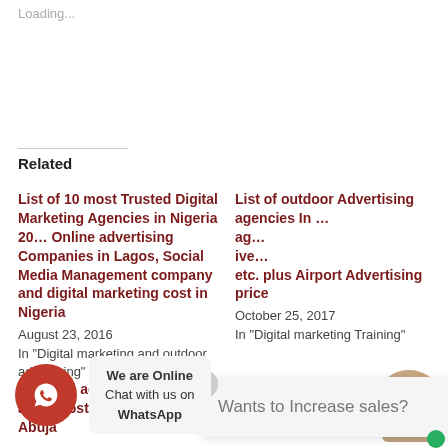Loading...
Related
List of 10 most Trusted Digital Marketing Agencies in Nigeria 20… Online advertising Companies in Lagos, Social Media Management company and digital marketing cost in Nigeria
August 23, 2016
In "Digital marketing and outdoor advertising"
List of outdoor Advertising agencies In … ag… ive… etc. plus Airport Advertising price
October 25, 2017
In "Digital marketing Training"
Wants to Increase sales?
We are Online
Chat with us on WhatsApp
Co… ll… adv… g… and airport adv… costs in Lagos and Abuja